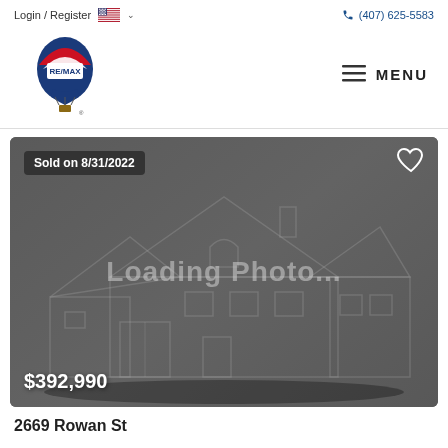Login / Register  (407) 625-5583
[Figure (logo): RE/MAX hot air balloon logo]
[Figure (photo): Real estate listing photo placeholder showing Loading Photo... with house outline silhouette on dark gray background. Sold on 8/31/2022 badge top left. Heart icon top right. Price $392,990 bottom left.]
Sold on 8/31/2022
$392,990
2669 Rowan St